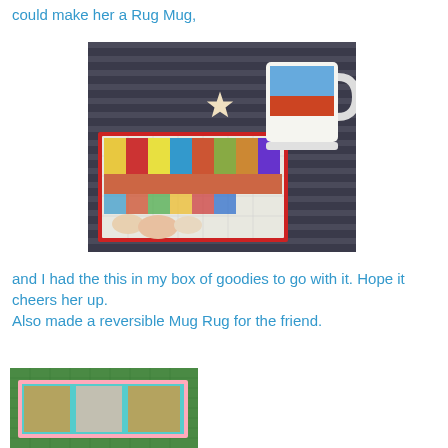could make her a Rug Mug,
[Figure (photo): A quilted mug rug with red border featuring Victorian-style bathing belles, with a decorative mug and a starfish on a wooden surface]
and I had the this in my box of goodies to go with it. Hope it cheers her up.
Also made a reversible Mug Rug for the friend.
[Figure (photo): A reversible mug rug on a green cutting mat]